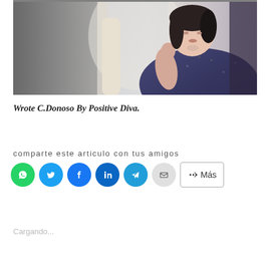[Figure (photo): Woman sitting by airplane window, wearing dark floral dress, resting chin on hand, looking out the window]
Wrote C.Donoso By Positive Diva.
comparte este articulo con tus amigos
Cargando...